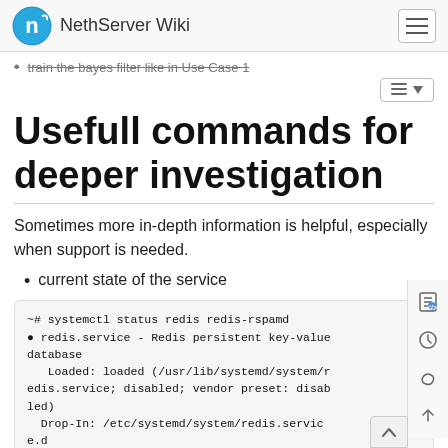NethServer Wiki
train the bayes filter like in Use Case 1
Usefull commands for deeper investigation
Sometimes more in-depth information is helpful, especially when support is needed.
current state of the service
~# systemctl status redis redis-rspamd
● redis.service - Redis persistent key-value database
   Loaded: loaded (/usr/lib/systemd/system/redis.service; disabled; vendor preset: disabled)
  Drop-In: /etc/systemd/system/redis.service.d
          └─limit.conf